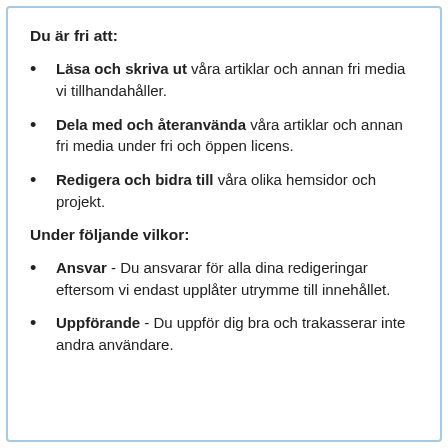Du är fri att:
Läsa och skriva ut våra artiklar och annan fri media vi tillhandahåller.
Dela med och återanvända våra artiklar och annan fri media under fri och öppen licens.
Redigera och bidra till våra olika hemsidor och projekt.
Under följande vilkor:
Ansvar - Du ansvarar för alla dina redigeringar eftersom vi endast upplåter utrymme till innehållet.
Uppförande - Du uppför dig bra och trakasserar inte andra användare.